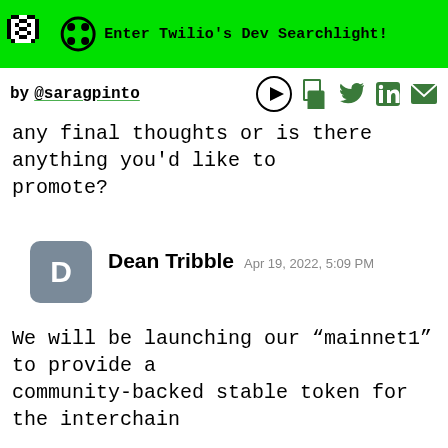Enter Twilio's Dev Searchlight!
by @saragpinto
any final thoughts or is there anything you'd like to promote?
Dean Tribble  Apr 19, 2022, 5:09 PM
We will be launching our “mainnet1” to provide a community-backed stable token for the interchain